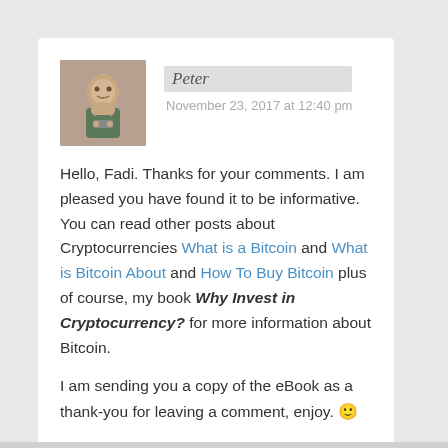[Figure (photo): Avatar photo of commenter Peter, an older man with grey hair, hands clasped near his face]
Peter
November 23, 2017 at 12:40 pm
Hello, Fadi. Thanks for your comments.  I am pleased you have found it to be informative. You can read other posts about Cryptocurrencies What is a Bitcoin and What is Bitcoin About and How To Buy Bitcoin plus of course, my book Why Invest in Cryptocurrency? for more information about Bitcoin.
I am sending you a copy of the eBook as a thank-you for leaving a comment, enjoy. 🙂
Reply